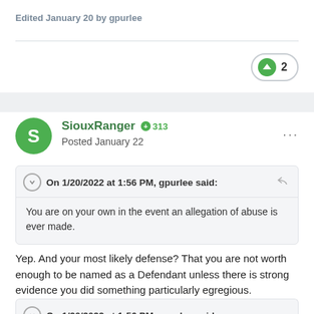Edited January 20 by gpurlee
2
SiouxRanger +313
Posted January 22
On 1/20/2022 at 1:56 PM, gpurlee said:
You are on your own in the event an allegation of abuse is ever made.
Yep.  And your most likely defense?  That you are not worth enough to be named as a Defendant unless there is strong evidence you did something particularly egregious.
On 1/20/2022 at 1:56 PM, gpurlee said: